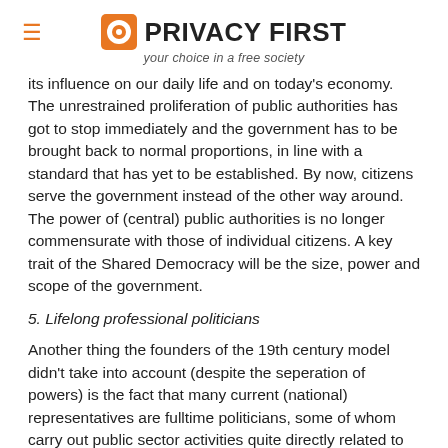PRIVACY FIRST — your choice in a free society
its influence on our daily life and on today's economy. The unrestrained proliferation of public authorities has got to stop immediately and the government has to be brought back to normal proportions, in line with a standard that has yet to be established. By now, citizens serve the government instead of the other way around. The power of (central) public authorities is no longer commensurate with those of individual citizens. A key trait of the Shared Democracy will be the size, power and scope of the government.
5. Lifelong professional politicians
Another thing the founders of the 19th century model didn't take into account (despite the seperation of powers) is the fact that many current (national) representatives are fulltime politicians, some of whom carry out public sector activities quite directly related to their political function. Particularly these latter ones